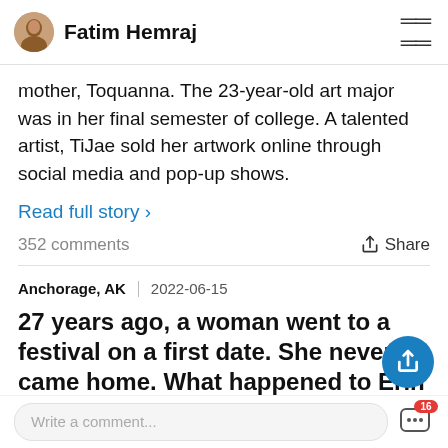Fatim Hemraj
mother, Toquanna. The 23-year-old art major was in her final semester of college. A talented artist, TiJae sold her artwork online through social media and pop-up shows.
Read full story ›
352 comments    Share
Anchorage, AK  2022-06-15
27 years ago, a woman went to a festival on a first date. She never came home. What happened to Erin Gilbe
Write a comment...